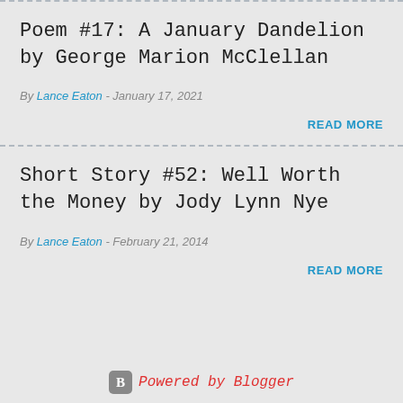Poem #17: A January Dandelion by George Marion McClellan
By Lance Eaton - January 17, 2021
READ MORE
Short Story #52: Well Worth the Money by Jody Lynn Nye
By Lance Eaton - February 21, 2014
READ MORE
Powered by Blogger